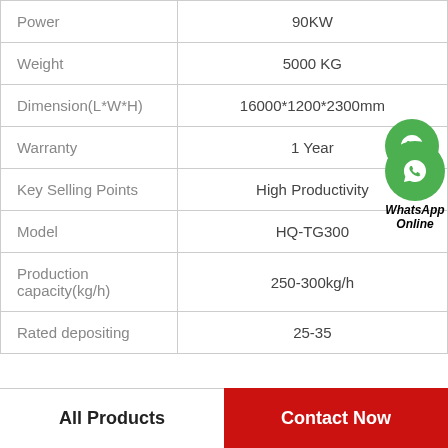| Attribute | Value |
| --- | --- |
| Power | 90KW |
| Weight | 5000 KG |
| Dimension(L*W*H) | 16000*1200*2300mm |
| Warranty | 1 Year |
| Key Selling Points | High Productivity |
| Model | HQ-TG300 |
| Production capacity(kg/h) | 250-300kg/h |
| Rated depositing | 25-35 |
All Products   Contact Now